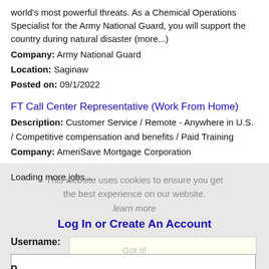world's most powerful threats. As a Chemical Operations Specialist for the Army National Guard, you will support the country during natural disaster (more...)
Company: Army National Guard
Location: Saginaw
Posted on: 09/1/2022
FT Call Center Representative (Work From Home)
Description: Customer Service / Remote - Anywhere in U.S. / Competitive compensation and benefits / Paid Training
Company: AmeriSave Mortgage Corporation
Location: Saginaw
Posted on: 09/1/2022
Loading more jobs...
This website uses cookies to ensure you get the best experience on our website.
learn more
Log In or Create An Account
Username:
Password: